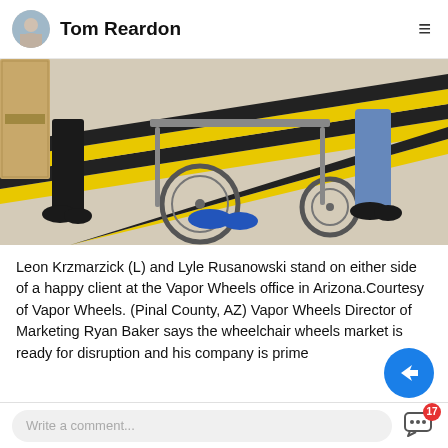Tom Reardon
[Figure (photo): Two people standing on either side of a person in a wheelchair inside an office with yellow-black hazard tape stripe on the floor.]
Leon Krzmarzick (L) and Lyle Rusanowski stand on either side of a happy client at the Vapor Wheels office in Arizona.Courtesy of Vapor Wheels. (Pinal County, AZ) Vapor Wheels Director of Marketing Ryan Baker says the wheelchair wheels market is ready for disruption and his company is prime